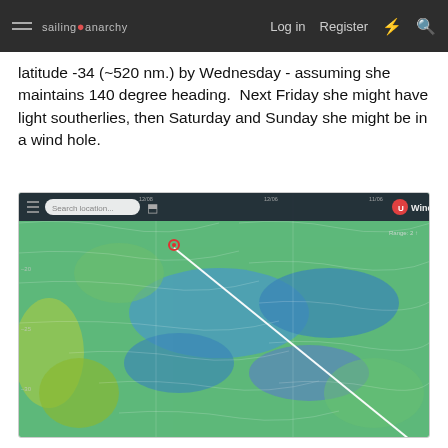sailing anarchy  Log in  Register
latitude -34 (~520 nm.) by Wednesday - assuming she maintains 140 degree heading.  Next Friday she might have light southerlies, then Saturday and Sunday she might be in a wind hole.
[Figure (screenshot): Windy.com weather map screenshot showing wind patterns over ocean, with a white diagonal route line drawn from upper-center to lower-right, and a red dot marking a position. The map shows green, blue, and yellow wind/weather patterns with the Windy.com logo in the upper right.]